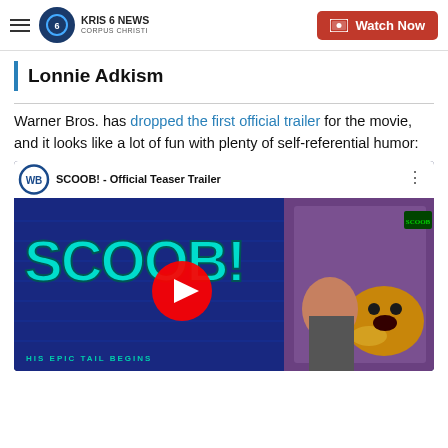KRIS 6 NEWS CORPUS CHRISTI — Watch Now
Lonnie Adkism
Warner Bros. has dropped the first official trailer for the movie, and it looks like a lot of fun with plenty of self-referential humor:
[Figure (screenshot): YouTube video thumbnail for SCOOB! - Official Teaser Trailer, showing the animated movie title SCOOB! with 'HIS EPIC TAIL BEGINS' subtitle on a blue brick background, and a phone showing a woman with Scooby-Doo. A large red YouTube play button is centered on the image.]